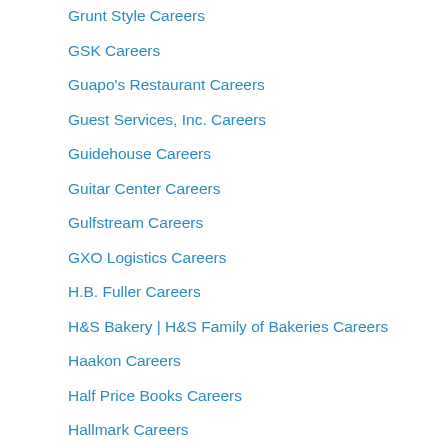Grunt Style Careers
GSK Careers
Guapo's Restaurant Careers
Guest Services, Inc. Careers
Guidehouse Careers
Guitar Center Careers
Gulfstream Careers
GXO Logistics Careers
H.B. Fuller Careers
H&S Bakery | H&S Family of Bakeries Careers
Haakon Careers
Half Price Books Careers
Hallmark Careers